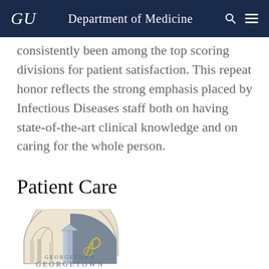GU  Department of Medicine
consistently been among the top scoring divisions for patient satisfaction. This repeat honor reflects the strong emphasis placed by Infectious Diseases staff both on having state-of-the-art clinical knowledge and on caring for the whole person.
Patient Care
[Figure (logo): Georgetown Department of Medicine (DOM) logo — semicircular crest with architectural and academic imagery in cream, blue-grey and navy tones, above text reading GEORGETOWN D·O·M Department of Medicine]